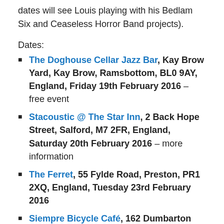dates will see Louis playing with his Bedlam Six and Ceaseless Horror Band projects).
Dates:
The Doghouse Cellar Jazz Bar, Kay Brow Yard, Kay Brow, Ramsbottom, BL0 9AY, England, Friday 19th February 2016 – free event
Stacoustic @ The Star Inn, 2 Back Hope Street, Salford, M7 2FR, England, Saturday 20th February 2016 – more information
The Ferret, 55 Fylde Road, Preston, PR1 2XQ, England, Tuesday 23rd February 2016
Siempre Bicycle Café, 162 Dumbarton Road, Glasgow, G11 6XE, Scotland, Thursday 25th February 2016
St Andrews Sessions @ St Andrews Church,